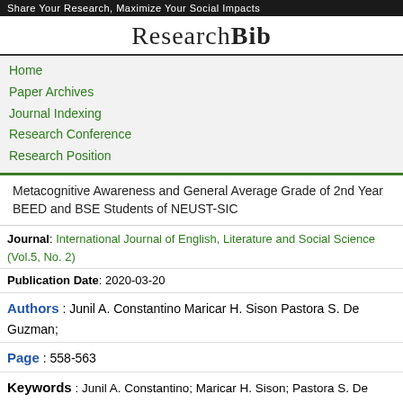Share Your Research, Maximize Your Social Impacts
ResearchBib
Home
Paper Archives
Journal Indexing
Research Conference
Research Position
Metacognitive Awareness and General Average Grade of 2nd Year BEED and BSE Students of NEUST-SIC
Journal: International Journal of English, Literature and Social Science (Vol.5, No. 2)
Publication Date: 2020-03-20
Authors : Junil A. Constantino Maricar H. Sison Pastora S. De Guzman;
Page : 558-563
Keywords : Junil A. Constantino; Maricar H. Sison; Pastora S. De Guzman;